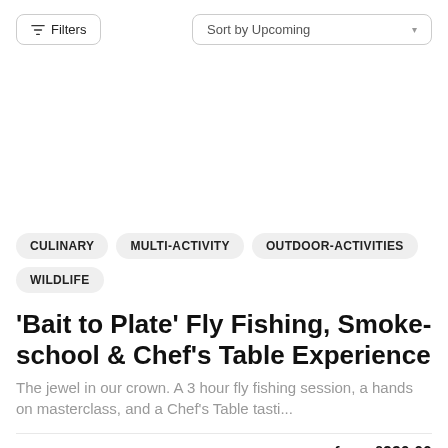Filters | Sort by Upcoming
CULINARY
MULTI-ACTIVITY
OUTDOOR-ACTIVITIES
WILDLIFE
'Bait to Plate' Fly Fishing, Smoke-school & Chef's Table Experience
The jewel in our crown. A 3 hour fly fishing session, a hands on masterclass, and a Chef's Table tasti...
Arundel   from £230.00